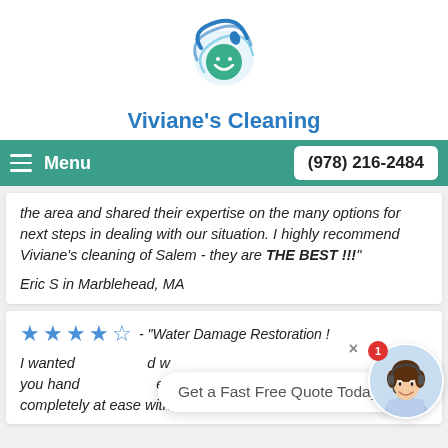[Figure (logo): Viviane's Cleaning circular logo with blue swirls and green leaf/smile icon]
Viviane's Cleaning
Menu   (978) 216-2484
the area and shared their expertise on the many options for next steps in dealing with our situation. I highly recommend Viviane's cleaning of Salem - they are THE BEST !!!"
Eric S in Marblehead, MA
★★★★☆ - "Water Damage Restoration !
I wanted  d w you hand er b completely at ease with this
Get a Fast Free Quote Today!